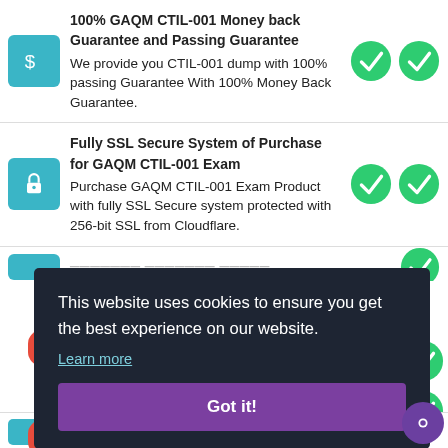100% GAQM CTIL-001 Money back Guarantee and Passing Guarantee
We provide you CTIL-001 dump with 100% passing Guarantee With 100% Money Back Guarantee.
Fully SSL Secure System of Purchase for GAQM CTIL-001 Exam
Purchase GAQM CTIL-001 Exam Product with fully SSL Secure system protected with 256-bit SSL from Cloudflare.
This website uses cookies to ensure you get the best experience on our website.
Learn more
Got it!
Standard Mode and Case Study Mode.